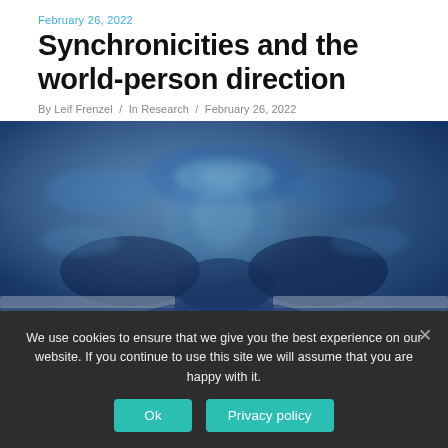February 26, 2022
Synchronicities and the world-person direction
By Leif Frenzel / In Research / February 26, 2022
[Figure (photo): Abstract blue water ripple texture with symmetrical mirror effect, dark blue tones with lighter blue and white highlights]
We use cookies to ensure that we give you the best experience on our website. If you continue to use this site we will assume that you are happy with it.
Ok   Privacy policy